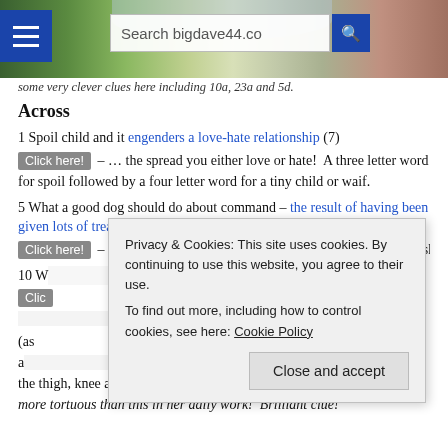[Figure (screenshot): Website header with countryside photo background, hamburger menu icon, search box showing 'Search bigdave44.co', and navigation bar]
some very clever clues here including 10a, 23a and 5d.
Across
1 Spoil child and it engenders a love-hate relationship (7)
[Click here!] – … the spread you either love or hate! A three letter word for spoil followed by a four letter word for a tiny child or waif.
5 What a good dog should do about command – the result of having been given lots of treats (7)
[Click here!] – The act of complying with something (what a good dog shou…
10 W… …ause (b); … and calf)
[Clic…] …gram (as a… …g the thigh, knee and calf. Beet is a lawyer and probably drafts things far more tortuous than this in her daily work! Brilliant clue!
Privacy & Cookies: This site uses cookies. By continuing to use this website, you agree to their use.
To find out more, including how to control cookies, see here: Cookie Policy
[Close and accept]